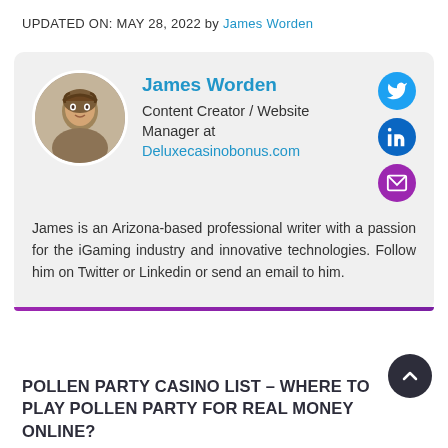UPDATED ON: MAY 28, 2022 by James Worden
James Worden
Content Creator / Website Manager at
Deluxecasinobonus.com
James is an Arizona-based professional writer with a passion for the iGaming industry and innovative technologies. Follow him on Twitter or Linkedin or send an email to him.
POLLEN PARTY CASINO LIST – WHERE TO PLAY POLLEN PARTY FOR REAL MONEY ONLINE?